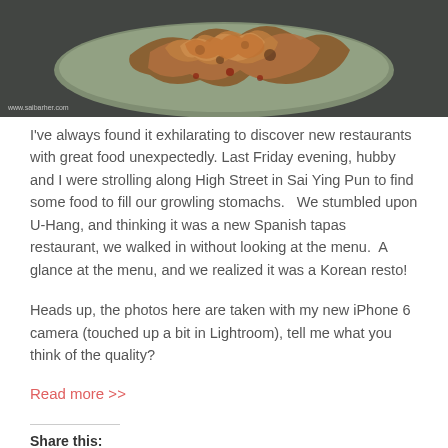[Figure (photo): Close-up photo of Korean food dish on a dark grey textured surface, with watermark text 'www.saibarher.com' in bottom left corner]
I've always found it exhilarating to discover new restaurants with great food unexpectedly. Last Friday evening, hubby and I were strolling along High Street in Sai Ying Pun to find some food to fill our growling stomachs.   We stumbled upon U-Hang, and thinking it was a new Spanish tapas restaurant, we walked in without looking at the menu.  A glance at the menu, and we realized it was a Korean resto!
Heads up, the photos here are taken with my new iPhone 6 camera (touched up a bit in Lightroom), tell me what you think of the quality?
Read more >>
Share this: